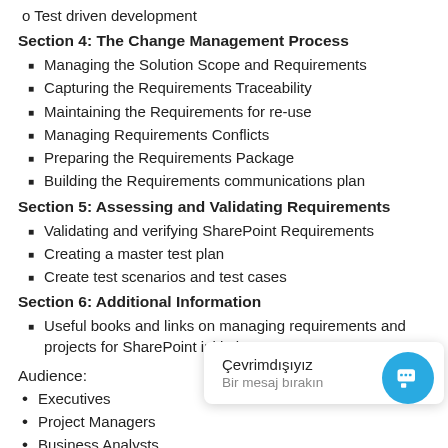o Test driven development
Section 4: The Change Management Process
Managing the Solution Scope and Requirements
Capturing the Requirements Traceability
Maintaining the Requirements for re-use
Managing Requirements Conflicts
Preparing the Requirements Package
Building the Requirements communications plan
Section 5: Assessing and Validating Requirements
Validating and verifying SharePoint Requirements
Creating a master test plan
Create test scenarios and test cases
Section 6: Additional Information
Useful books and links on managing requirements and projects for SharePoint initiatives.
Audience:
Executives
Project Managers
Business Analysts
Business and IT stakeholders engaged in improving the